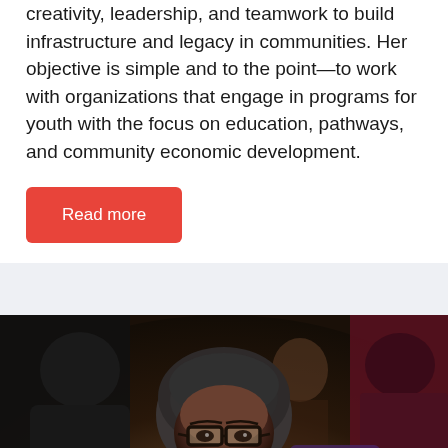creativity, leadership, and teamwork to build infrastructure and legacy in communities. Her objective is simple and to the point—to work with organizations that engage in programs for youth with the focus on education, pathways, and community economic development.
Read more
[Figure (photo): Portrait photo of a smiling woman with short gray natural hair, wearing glasses with dark frames and decorative earrings. She appears to be at an event. Background shows other people, including someone in black and someone in red/maroon.]